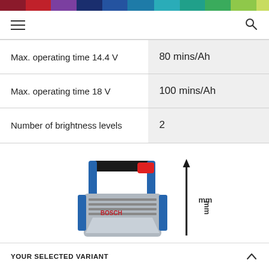[Figure (infographic): Horizontal color bar strip at the top of the page with multiple color segments: dark red, red, purple, dark blue, medium blue, teal, cyan, teal-green, green, light green]
Navigation bar with hamburger menu icon and search icon
| Specification | Value |
| --- | --- |
| Max. operating time 14.4 V | 80 mins/Ah |
| Max. operating time 18 V | 100 mins/Ah |
| Number of brightness levels | 2 |
[Figure (photo): Bosch cordless work light/LED floodlight in blue and black with red accent and a height measurement arrow with 'mm' label on the right side]
YOUR SELECTED VARIANT